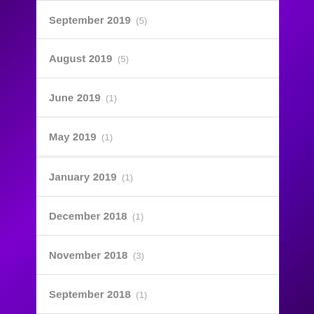September 2019 (5)
August 2019 (5)
June 2019 (1)
May 2019 (1)
January 2019 (1)
December 2018 (1)
November 2018 (3)
September 2018 (1)
August 2018 (5)